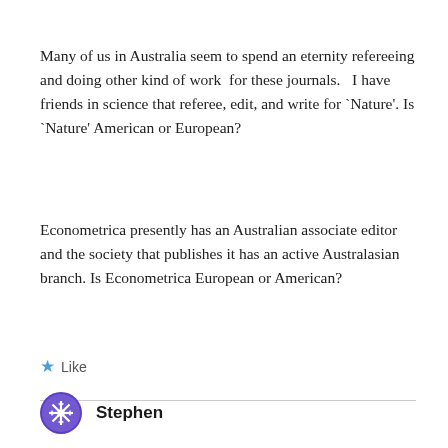Many of us in Australia seem to spend an eternity refereeing and doing other kind of work  for these journals.   I have friends in science that referee, edit, and write for `Nature'. Is `Nature' American or European?
Econometrica presently has an Australian associate editor and the society that publishes it has an active Australasian branch. Is Econometrica European or American?
★ Like
Stephen